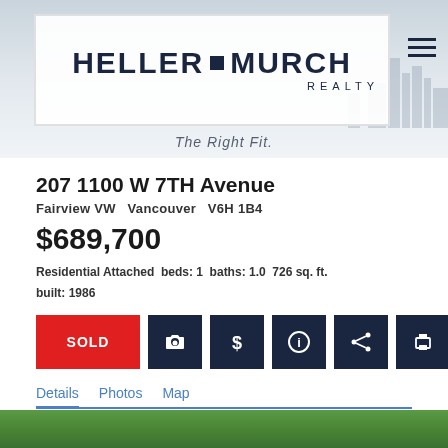[Figure (logo): Heller Murch Realty logo with tagline 'The Right Fit.']
207 1100 W 7TH Avenue
Fairview VW  Vancouver  V6H 1B4
$689,700
Residential Attached  beds: 1  baths: 1.0  726 sq. ft.  built: 1986
SOLD
Details  Photos  Map
[Figure (photo): Partial photo of property exterior with trees]